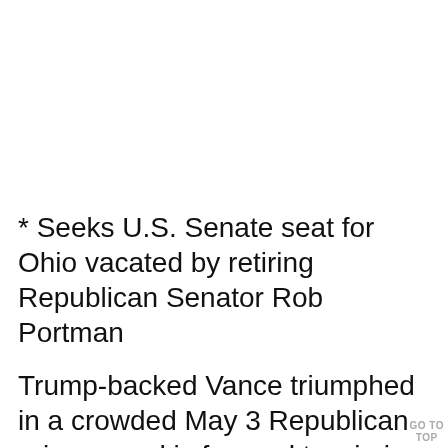* Seeks U.S. Senate seat for Ohio vacated by retiring Republican Senator Rob Portman
Trump-backed Vance triumphed in a crowded May 3 Republican primary and is favored to win in November against Democrat Tim Ryan, currently a U.S.
GO TO TOP